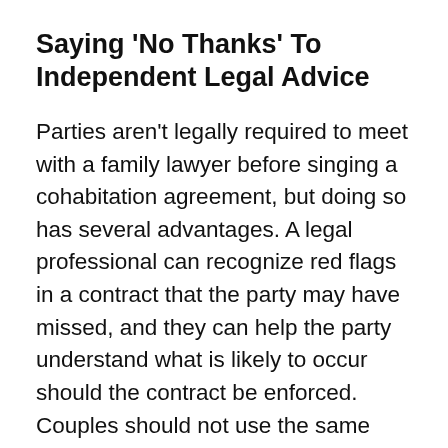Saying 'No Thanks' To Independent Legal Advice
Parties aren't legally required to meet with a family lawyer before singing a cohabitation agreement, but doing so has several advantages. A legal professional can recognize red flags in a contract that the party may have missed, and they can help the party understand what is likely to occur should the contract be enforced. Couples should not use the same lawyer, they each need someone who can advocate for their individual rights.